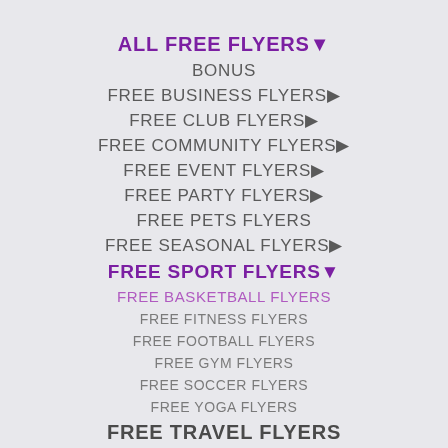ALL FREE FLYERS▼
BONUS
FREE BUSINESS FLYERS▶
FREE CLUB FLYERS▶
FREE COMMUNITY FLYERS▶
FREE EVENT FLYERS▶
FREE PARTY FLYERS▶
FREE PETS FLYERS
FREE SEASONAL FLYERS▶
FREE SPORT FLYERS▼
FREE BASKETBALL FLYERS
FREE FITNESS FLYERS
FREE FOOTBALL FLYERS
FREE GYM FLYERS
FREE SOCCER FLYERS
FREE YOGA FLYERS
FREE TRAVEL FLYERS
FREE WEDDING FLYERS